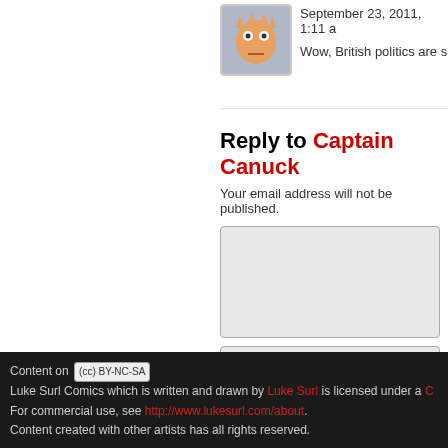September 23, 2011, 1:11 a
Wow, British politics are s
Reply to Captain Canuck
Your email address will not be published.
Post Comment
This site uses Akismet to reduce spam. L
Content on [cc BY-NC-SA] Luke Surl Comics which is written and drawn by Luke Surl is licensed under a C For commercial use, see http://www.lukesurl.com/about. Content created with other artists has all rights reserved.